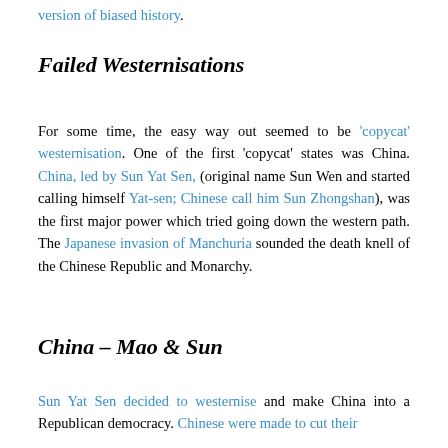version of biased history.
Failed Westernisations
For some time, the easy way out seemed to be 'copycat' westernisation. One of the first 'copycat' states was China. China, led by Sun Yat Sen, (original name Sun Wen and started calling himself Yat-sen; Chinese call him Sun Zhongshan), was the first major power which tried going down the western path. The Japanese invasion of Manchuria sounded the death knell of the Chinese Republic and Monarchy.
China – Mao & Sun
Sun Yat Sen decided to westernise and make China into a Republican democracy. Chinese were made to cut their